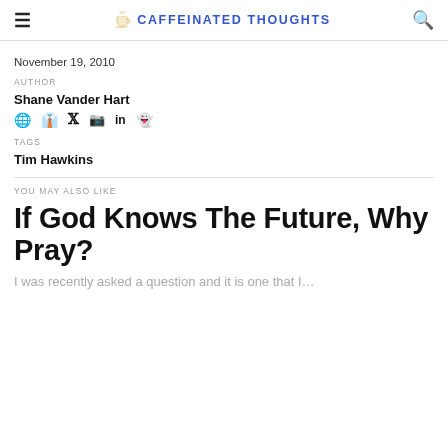CAFFEINATED THOUGHTS
November 19, 2010
AUTHOR
Shane Vander Hart
TAGS
Tim Hawkins
YOU MAY ALSO LIKE
If God Knows The Future, Why Pray?
I was recently asked a question and it is one that I…